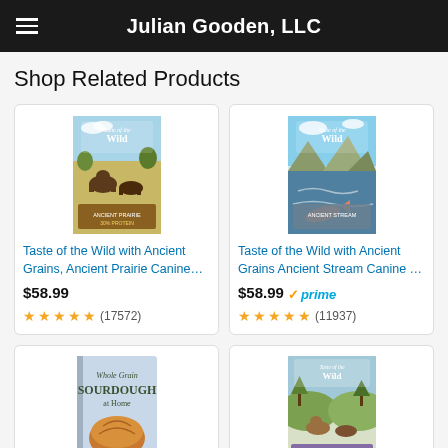Julian Gooden, LLC
Shop Related Products
[Figure (photo): Product image: Taste of the Wild with Ancient Grains, Ancient Prairie Canine dog food bag]
Taste of the Wild with Ancient Grains, Ancient Prairie Canine...
$58.99
★★★★½ (17572)
[Figure (photo): Product image: Taste of the Wild with Ancient Grains Ancient Stream Canine dog food bag]
Taste of the Wild with Ancient Grains Ancient Stream Canine ...
$58.99 ✓prime
★★★★½ (11937)
[Figure (photo): Product image: Whole Grain Sourdough at Home book cover]
[Figure (photo): Product image: Taste of the Wild dog food bag, another variety]